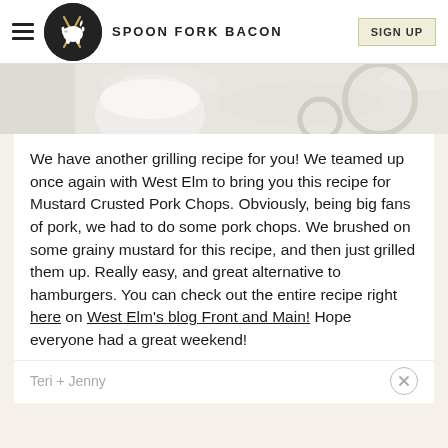SPOON FORK BACON
[Figure (photo): Partial overhead food photo showing kitchen items on marble surface]
We have another grilling recipe for you! We teamed up once again with West Elm to bring you this recipe for Mustard Crusted Pork Chops. Obviously, being big fans of pork, we had to do some pork chops. We brushed on some grainy mustard for this recipe, and then just grilled them up. Really easy, and great alternative to hamburgers. You can check out the entire recipe right here on West Elm's blog Front and Main! Hope everyone had a great weekend!
Teri + Jenny